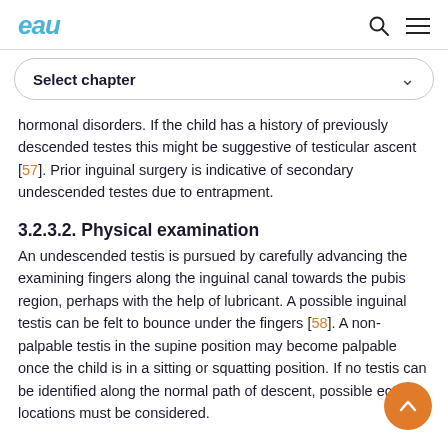eau (logo) | search icon | menu icon
Select chapter
hormonal disorders. If the child has a history of previously descended testes this might be suggestive of testicular ascent [57]. Prior inguinal surgery is indicative of secondary undescended testes due to entrapment.
3.2.3.2. Physical examination
An undescended testis is pursued by carefully advancing the examining fingers along the inguinal canal towards the pubis region, perhaps with the help of lubricant. A possible inguinal testis can be felt to bounce under the fingers [58]. A non-palpable testis in the supine position may become palpable once the child is in a sitting or squatting position. If no testis can be identified along the normal path of descent, possible ectopic locations must be considered.